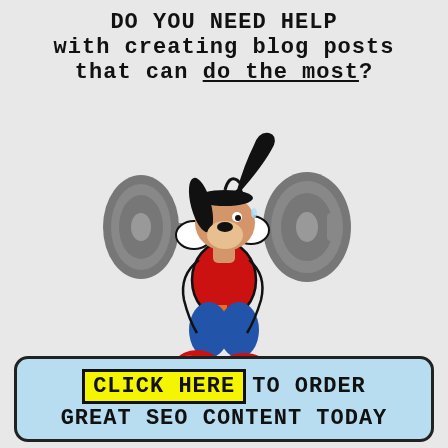DO YOU NEED HELP with creating blog posts that can do the most?
[Figure (illustration): Cartoon character Goofy lifting a heavy barbell with large weight plates, wearing a red tank top, blue pants, and red sneakers]
CLICK HERE TO ORDER GREAT SEO CONTENT TODAY